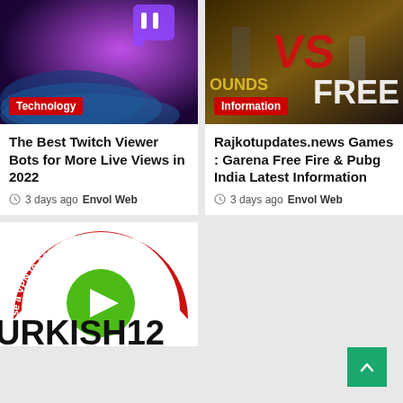[Figure (screenshot): Twitch viewer bots article thumbnail with purple/blue abstract 3D shapes and Twitch logo, Technology badge overlay]
The Best Twitch Viewer Bots for More Live Views in 2022
3 days ago  Envol Web
[Figure (screenshot): PUBG vs Free Fire article thumbnail showing game characters in action, Information badge overlay]
Rajkotupdates.news Games : Garena Free Fire & Pubg India Latest Information
3 days ago  Envol Web
[Figure (screenshot): VPN to Access Turkish content thumbnail with red arc text and green play button circle, partial text URKISH12 at bottom]